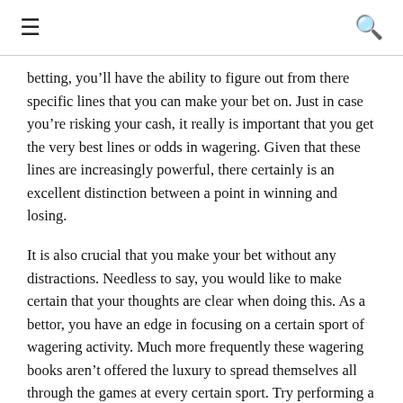≡  🔍
betting, you'll have the ability to figure out from there specific lines that you can make your bet on. Just in case you're risking your cash, it really is important that you get the very best lines or odds in wagering. Given that these lines are increasingly powerful, there certainly is an excellent distinction between a point in winning and losing.
It is also crucial that you make your bet without any distractions. Needless to say, you would like to make certain that your thoughts are clear when doing this. As a bettor, you have an edge in focusing on a certain sport of wagering activity. Much more frequently these wagering books aren't offered the luxury to spread themselves all through the games at every certain sport. Try performing a study to acquire as significant information for the sport that you like. You are able to definitely get access t as many details